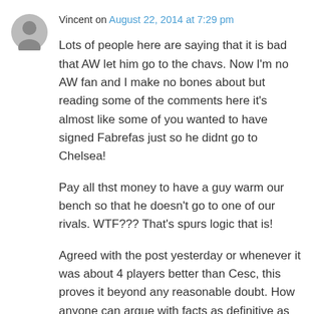Vincent on August 22, 2014 at 7:29 pm
Lots of people here are saying that it is bad that AW let him go to the chavs. Now I'm no AW fan and I make no bones about but reading some of the comments here it's almost like some of you wanted to have signed Fabrefas just so he didnt go to Chelsea!
Pay all thst money to have a guy warm our bench so that he doesn't go to one of our rivals. WTF??? That's spurs logic that is!
Agreed with the post yesterday or whenever it was about 4 players better than Cesc, this proves it beyond any reasonable doubt. How anyone can argue with facts as definitive as